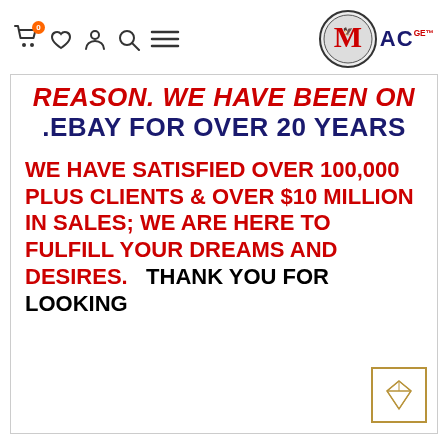MAC GE — navigation header with cart, wishlist, account, search, menu icons and MAC GE logo
REASON. WE HAVE BEEN ON .EBAY FOR OVER 20 YEARS
WE HAVE SATISFIED OVER 100,000 PLUS CLIENTS & OVER $10 MILLION IN SALES; WE ARE HERE TO FULFILL YOUR DREAMS AND DESIRES.  THANK YOU FOR LOOKING
[Figure (logo): Diamond gem icon in gold border square, bottom right corner]